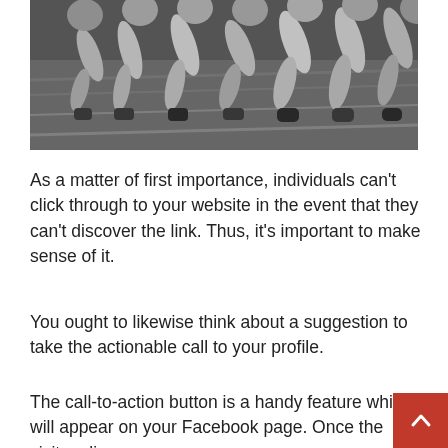[Figure (photo): Black and white photo of runners at the start of a race, legs and running shoes visible, motion blur on the track.]
As a matter of first importance, individuals can’t click through to your website in the event that they can’t discover the link. Thus, it’s important to make sense of it.
You ought to likewise think about a suggestion to take the actionable call to your profile.
The call-to-action button is a handy feature which will appear on your Facebook page. Once the visitor cli…